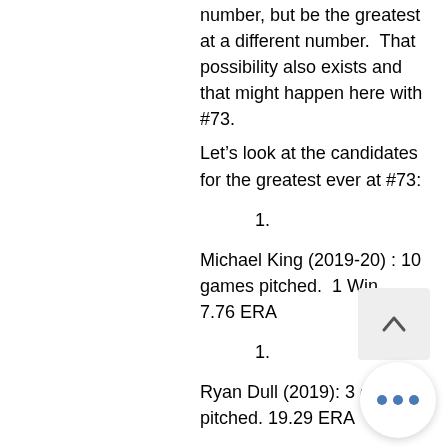number, but be the greatest at a different number.  That possibility also exists and that might happen here with #73.
Let’s look at the candidates for the greatest ever at #73:
1.
Michael King (2019-20) : 10 games pitched.  1 Win.  7.76 ERA
1.
Ryan Dull (2019): 3 games pitched.  19.29 ERA
1.
Adonis Rosa (2019): 1 game pitched innings total
When the candidates for this...